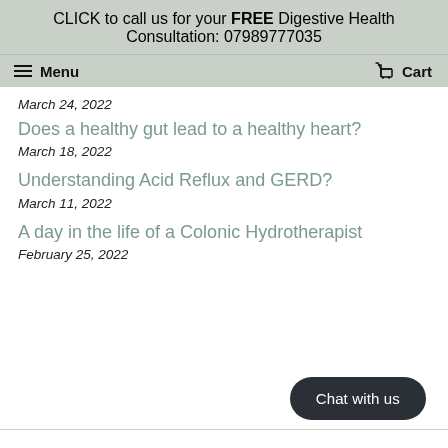CLICK to call us for your FREE Digestive Health Consultation: 07989777035
Menu  Cart
March 24, 2022
Does a healthy gut lead to a healthy heart?
March 18, 2022
Understanding Acid Reflux and GERD?
March 11, 2022
A day in the life of a Colonic Hydrotherapist
February 25, 2022
Chat with us